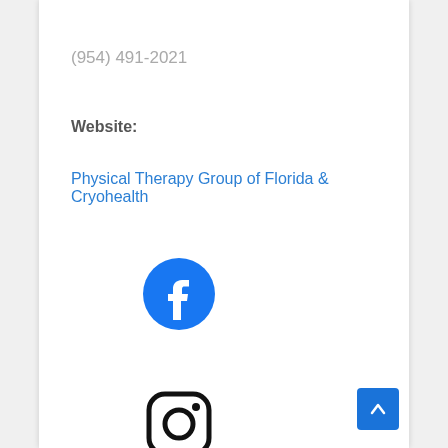(954) 491-2021
Website:
Physical Therapy Group of Florida & Cryohealth
[Figure (logo): Facebook logo — blue circle with white F]
[Figure (logo): Instagram logo — rounded square with camera outline and dot]